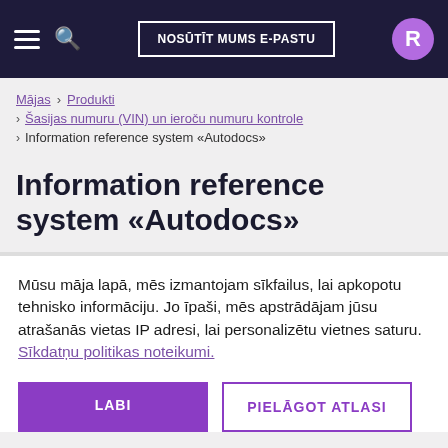NOSŪTĪT MUMS E-PASTU
Mājas › Produkti
› Šasijas numuru (VIN) un ieroču numuru kontrole
› Information reference system «Autodocs»
Information reference system «Autodocs»
Mūsu māja lapā, mēs izmantojam sīkfailus, lai apkopotu tehnisko informāciju. Jo īpaši, mēs apstrādājam jūsu atrašanās vietas IP adresi, lai personalizētu vietnes saturu. Sīkdatņu politikas noteikumi.
LABI | PIELĀGOT ATLASI